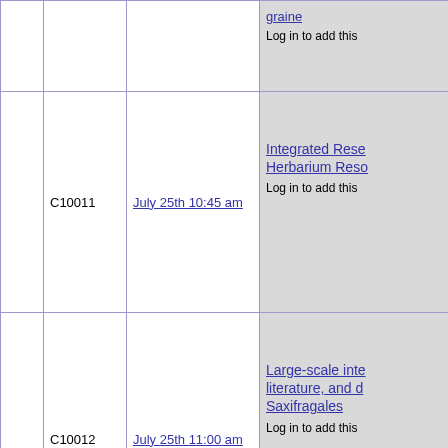|  | ID | Date/Time | Title/Action |
| --- | --- | --- | --- |
|  |  |  | Log in to add this |
|  | C10011 | July 25th 10:45 am | Integrated Rese Herbarium Reso Log in to add this |
|  | C10012 | July 25th 11:00 am | Large-scale inte literature, and d Saxifragales Log in to add this |
|  | C10013 | July 25th 11:15 am | Using herbarium plant metabolism and an example alkaloids in Apo Log in to add this |
|  |  |  | Targeted bait en specimens reve |